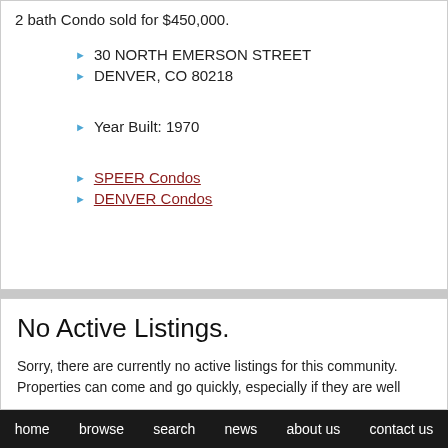2 bath Condo sold for $450,000.
30 NORTH EMERSON STREET
DENVER, CO 80218
Year Built: 1970
SPEER Condos
DENVER Condos
No Active Listings.
Sorry, there are currently no active listings for this community. Properties can come and go quickly, especially if they are well
home   browse   search   news   about us   contact us